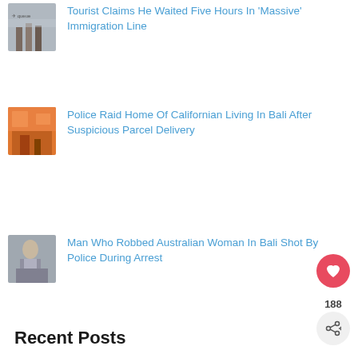[Figure (photo): Thumbnail image of people in an immigration/airport line]
Tourist Claims He Waited Five Hours In 'Massive' Immigration Line
[Figure (photo): Thumbnail image of an orange building/shop in Bali]
Police Raid Home Of Californian Living In Bali After Suspicious Parcel Delivery
[Figure (photo): Thumbnail image of a man being arrested by police]
Man Who Robbed Australian Woman In Bali Shot By Police During Arrest
Recent Posts